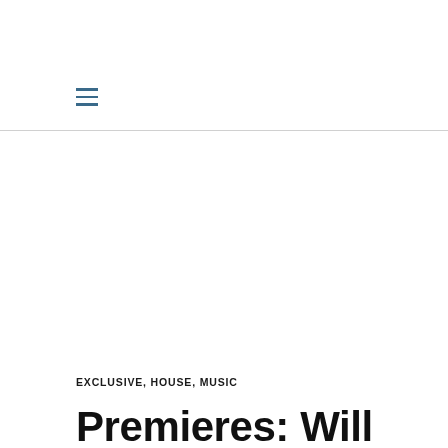[Figure (other): Hamburger menu icon with three horizontal lines in blue-gray color]
EXCLUSIVE, HOUSE, MUSIC
Premieres: Will